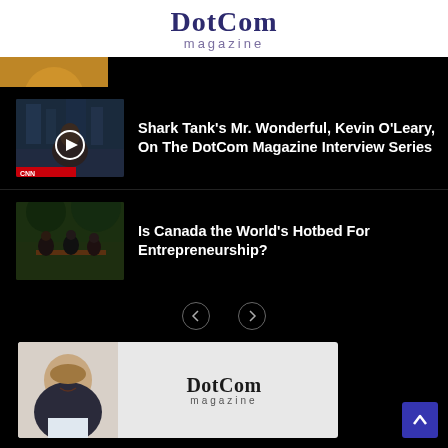DotCom magazine
[Figure (photo): Thumbnail image (partially visible, food/colorful)]
[Figure (photo): Thumbnail of Kevin O'Leary with play button overlay]
Shark Tank's Mr. Wonderful, Kevin O'Leary, On The DotCom Magazine Interview Series
[Figure (photo): Thumbnail of people sitting at a table outdoors]
Is Canada the World's Hotbed For Entrepreneurship?
[Figure (other): Navigation arrows left and right]
[Figure (photo): Bottom card with man's headshot and DotCom magazine logo on light background]
[Figure (other): Scroll to top button (blue square with up arrow)]